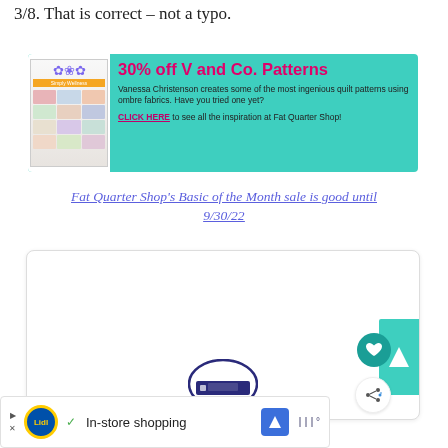3/8. That is correct – not a typo.
[Figure (infographic): Advertisement banner for Fat Quarter Shop: '30% off V and Co. Patterns' on teal background with book cover image. Text: 'Vanessa Christenson creates some of the most ingenious quilt patterns using ombre fabrics. Have you tried one yet? CLICK HERE to see all the inspiration at Fat Quarter Shop!']
Fat Quarter Shop's Basic of the Month sale is good until 9/30/22
[Figure (screenshot): A card/widget box with a heart button, share button, teal triangle button on right edge, and a circular logo at the bottom center. Below it is an overlay ad for Lidl featuring 'In-store shopping' text with a checkmark, Lidl logo, navigation icon, and menu icon.]